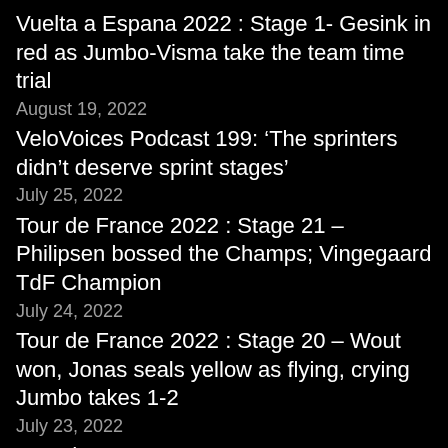Vuelta a Espana 2022 : Stage 1- Gesink in red as Jumbo-Visma take the team time trial
August 19, 2022
VeloVoices Podcast 199: ‘The sprinters didn’t deserve sprint stages’
July 25, 2022
Tour de France 2022 : Stage 21 – Philipsen bossed the Champs; Vingegaard TdF Champion
July 24, 2022
Tour de France 2022 : Stage 20 – Wout won, Jonas seals yellow as flying, crying Jumbo takes 1-2
July 23, 2022
Tour de France 2022 : Stage 19 – Christophe Laporte makes French Hearts Sing
July 22, 2022
Tour de France 2022 : Stage 18 – Final fireworks on Hautacam
July 21, 2022